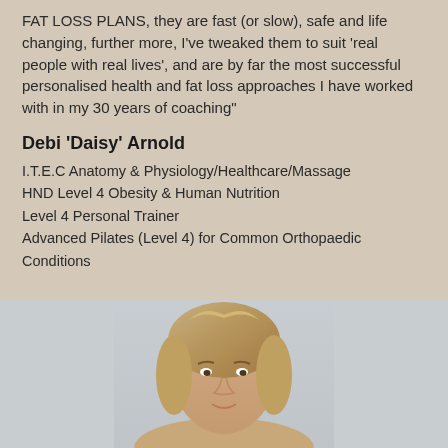FAT LOSS PLANS, they are fast (or slow), safe and life changing, further more, I've tweaked them to suit 'real people with real lives', and are by far the most successful personalised health and fat loss approaches I have worked with in my 30 years of coaching"
Debi 'Daisy' Arnold
I.T.E.C Anatomy & Physiology/Healthcare/Massage
HND Level 4 Obesity & Human Nutrition
Level 4 Personal Trainer
Advanced Pilates (Level 4) for Common Orthopaedic Conditions
[Figure (photo): Photo of Debi 'Daisy' Arnold, partially visible, showing head and upper shoulders with light/blonde hair against a light grey background]